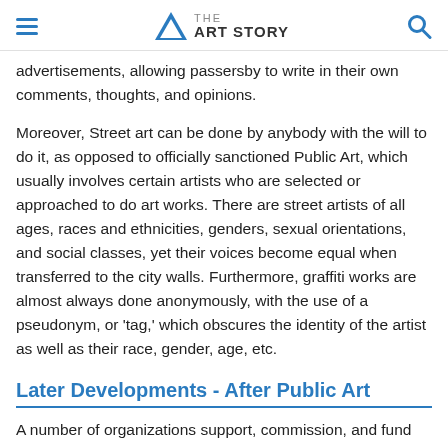THE ART STORY
advertisements, allowing passersby to write in their own comments, thoughts, and opinions.
Moreover, Street art can be done by anybody with the will to do it, as opposed to officially sanctioned Public Art, which usually involves certain artists who are selected or approached to do art works. There are street artists of all ages, races and ethnicities, genders, sexual orientations, and social classes, yet their voices become equal when transferred to the city walls. Furthermore, graffiti works are almost always done anonymously, with the use of a pseudonym, or 'tag,' which obscures the identity of the artist as well as their race, gender, age, etc.
Later Developments - After Public Art
A number of organizations support, commission, and fund